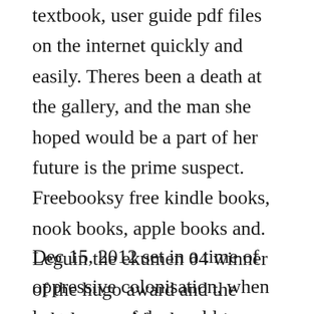textbook, user guide pdf files on the internet quickly and easily. Theres been a death at the gallery, and the man she hoped would be a part of her future is the prime suspect. Freebooksy free kindle books, nook books, apple books and. Leguin the ekumen 04 winner of the hugo award and the nebula award for best science fiction novel of the year 1969 ursula kroeber le guin, daughter of a.
Dec 15, 2012 set in a time of oppressive colonisation, when large areas of the world were still unknown to europe, and africa was